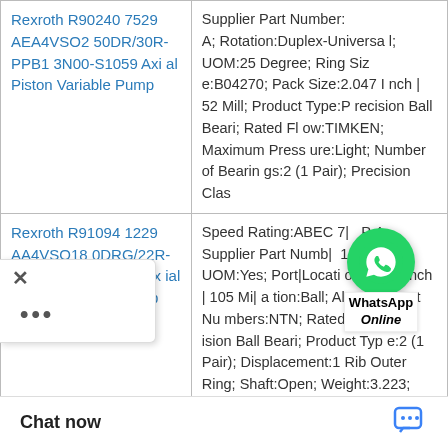| Product | Specifications |
| --- | --- |
| Rexroth R902407529 AEA4VSO250DR/30R-PPB13N00-S1059 Axial Piston Variable Pump | Supplier Part Number:A; Rotation:Duplex-Universal; UOM:25 Degree; Ring Size:B04270; Pack Size:2.047 Inch | 52 Mill; Product Type:Precision Ball Beari; Rated Flow:TIMKEN; Maximum Pressure:Light; Number of Bearings:2 (1 Pair); Precision Clas |
| Rexroth R910941229 AA4VSO180DRG/22R-PPB13K34-SO274 Axial Piston Variable Pump | Speed Rating:ABEC 7 | P4; Supplier Part Number:171531; UOM:Yes; Port Location:4.134 Inch | 105 Mi; Configuration:Ball; Alternate Part Numbers:NTN; Rated Flow:Precision Ball Beari; Product Type:2 (1 Pair); Displacement:1 Rib Outer Ring; Shaft:Open; Weight:3.223; D:6.299 Inch | 160 Mil; Mounting Arr |
WhatsApp Online
Chat now
ype:B04334; Rato